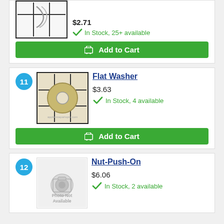[Figure (photo): Partial product image at top of page, showing cotter pin or clip on grid background]
In Stock, 25+ available
Add to Cart
11
[Figure (photo): Flat Washer product photo on grid background, showing a round metal washer with hole in center]
Flat Washer
$3.63
In Stock, 4 available
Add to Cart
12
[Figure (photo): Photo Not Available placeholder image for Nut-Push-On product]
Nut-Push-On
$6.06
In Stock, 2 available